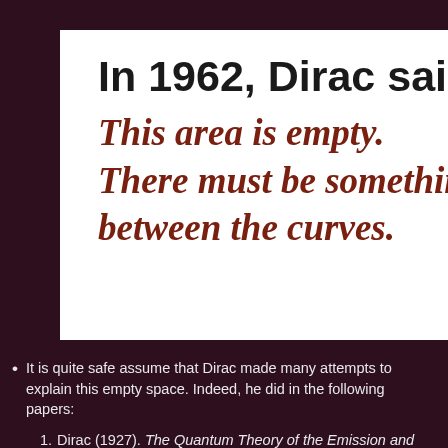In 1962, Dirac said
This area is empty. There must be something between the curves.
It is quite safe assume that Dirac made many attempts to explain this empty space. Indeed, he did in the following papers:
Dirac (1927). The Quantum Theory of the Emission and Absorption of Radiation, Proc. Roy. Soc. (London) A [114],
Dirac (1945). The Quantum Theory of the E...